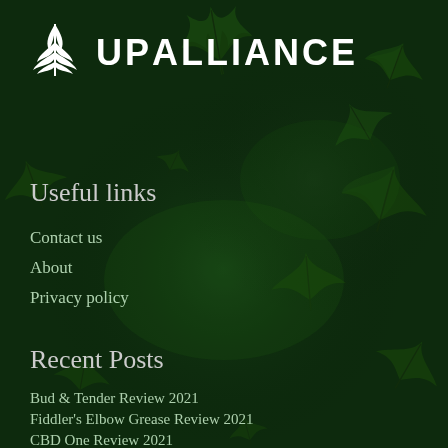[Figure (logo): UP Alliance logo with white cannabis leaf icon and white bold text reading UPALLIANCE on dark green background with cannabis leaf pattern]
Useful links
Contact us
About
Privacy policy
Recent Posts
Bud & Tender Review 2021
Fiddler's Elbow Grease Review 2021
CBD One Review 2021